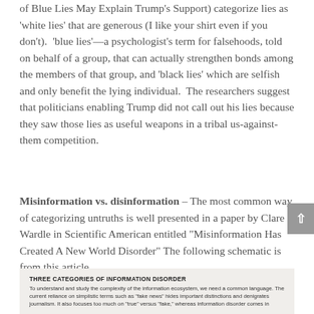of Blue Lies May Explain Trump's Support) categorize lies as 'white lies' that are generous (I like your shirt even if you don't),  'blue lies'—a psychologist's term for falsehoods, told on behalf of a group, that can actually strengthen bonds among the members of that group, and 'black lies' which are selfish and only benefit the lying individual.  The researchers suggest that politicians enabling Trump did not call out his lies because they saw those lies as useful weapons in a tribal us-against-them competition.
Misinformation vs. disinformation – The most common way of categorizing untruths is well presented in a paper by Clare Wardle in Scientific American entitled "Misinformation Has Created A New World Disorder" The following schematic is from this article.
[Figure (infographic): Partial view of an infographic titled 'THREE CATEGORIES OF INFORMATION DISORDER'. Text reads: To understand and study the complexity of the information ecosystem, we need a common language. The current reliance on simplistic terms such as 'fake news' hides important distinctions and denigrates journalism. It also focuses too much on 'true' versus 'fake,' whereas information disorder comes in...]